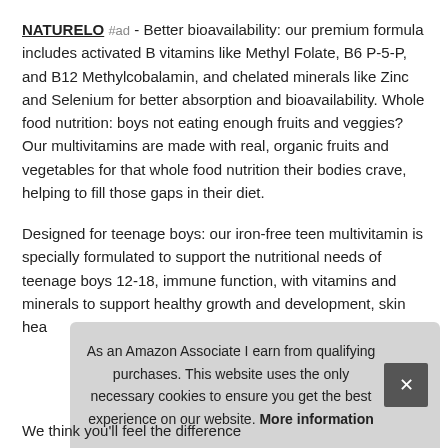NATURELO #ad - Better bioavailability: our premium formula includes activated B vitamins like Methyl Folate, B6 P-5-P, and B12 Methylcobalamin, and chelated minerals like Zinc and Selenium for better absorption and bioavailability. Whole food nutrition: boys not eating enough fruits and veggies? Our multivitamins are made with real, organic fruits and vegetables for that whole food nutrition their bodies crave, helping to fill those gaps in their diet.
Designed for teenage boys: our iron-free teen multivitamin is specially formulated to support the nutritional needs of teenage boys 12-18, immune function, with vitamins and minerals to support healthy growth and development, skin hea...
As an Amazon Associate I earn from qualifying purchases. This website uses the only necessary cookies to ensure you get the best experience on our website. More information
We think you'll feel the difference